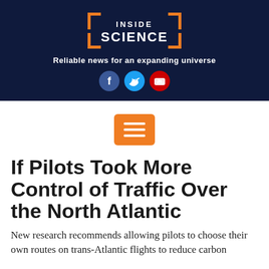[Figure (logo): Inside Science logo with orange bracket frame on dark navy background, tagline 'Reliable news for an expanding universe', and social media icons for Facebook, Twitter, YouTube]
[Figure (other): Orange hamburger/menu button with three white horizontal lines]
If Pilots Took More Control of Traffic Over the North Atlantic
New research recommends allowing pilots to choose their own routes on trans-Atlantic flights to reduce carbon